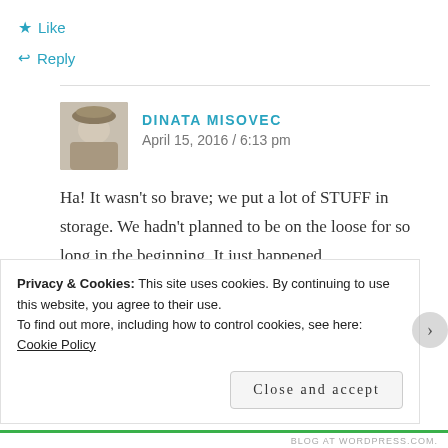★ Like
↩ Reply
DINATA MISOVEC
April 15, 2016 / 6:13 pm
Ha! It wasn't so brave; we put a lot of STUFF in storage. We hadn't planned to be on the loose for so long in the beginning. It just happened.
★ Like
Privacy & Cookies: This site uses cookies. By continuing to use this website, you agree to their use.
To find out more, including how to control cookies, see here: Cookie Policy
Close and accept